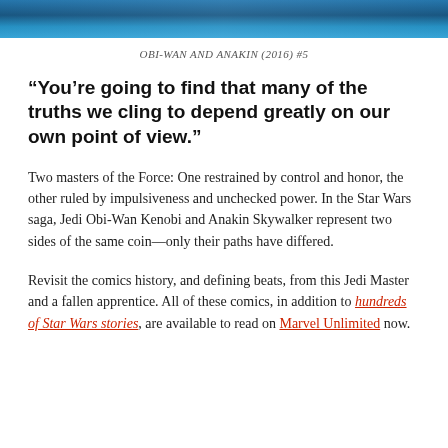[Figure (photo): Partial cropped image of Obi-Wan and Anakin comic book cover with blue tones]
OBI-WAN AND ANAKIN (2016) #5
“You’re going to find that many of the truths we cling to depend greatly on our own point of view.”
Two masters of the Force: One restrained by control and honor, the other ruled by impulsiveness and unchecked power. In the Star Wars saga, Jedi Obi-Wan Kenobi and Anakin Skywalker represent two sides of the same coin—only their paths have differed.
Revisit the comics history, and defining beats, from this Jedi Master and a fallen apprentice. All of these comics, in addition to hundreds of Star Wars stories, are available to read on Marvel Unlimited now.